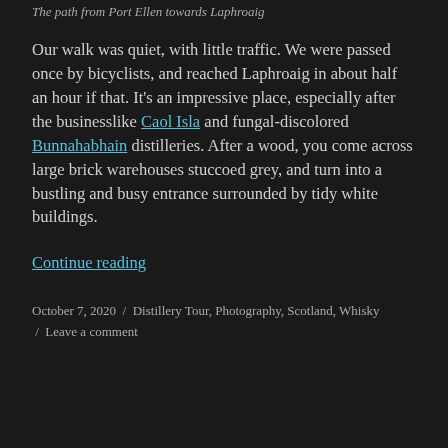The path from Port Ellen towards Laphroaig
Our walk was quiet, with little traffic. We were passed once by bicyclists, and reached Laphroaig in about half an hour if that. It’s an impressive place, especially after the businesslike Caol Isla and fungal-discolored Bunnahabhain distilleries. After a wood, you come across large brick warehouses stuccoed grey, and turn into a bustling and busy entrance surrounded by tidy white buildings.
Continue reading
October 7, 2020 / Distillery Tour, Photography, Scotland, Whisky / Leave a comment